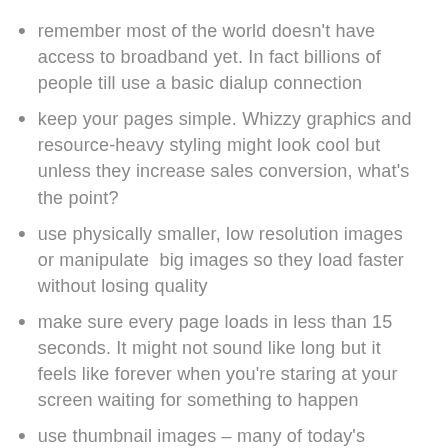remember most of the world doesn't have access to broadband yet. In fact billions of people till use a basic dialup connection
keep your pages simple. Whizzy graphics and resource-heavy styling might look cool but unless they increase sales conversion, what's the point?
use physically smaller, low resolution images or manipulate  big images so they load faster without losing quality
make sure every page loads in less than 15 seconds. It might not sound like long but it feels like forever when you're staring at your screen waiting for something to happen
use thumbnail images – many of today's design and graphics applications include automatic thumbnail generation